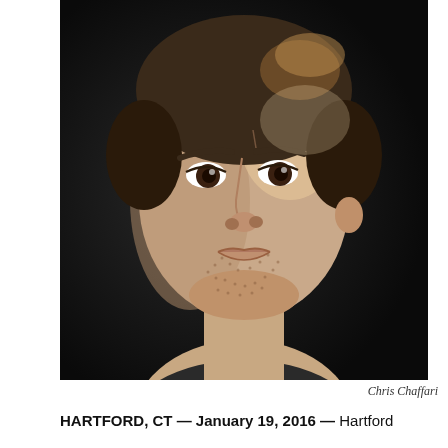[Figure (photo): Professional headshot of Chris Chaffari, a young man with short dark hair, brown eyes, and light stubble, photographed against a dark background with dramatic lighting.]
Chris Chaffari
HARTFORD, CT — January 19, 2016 — Hartford